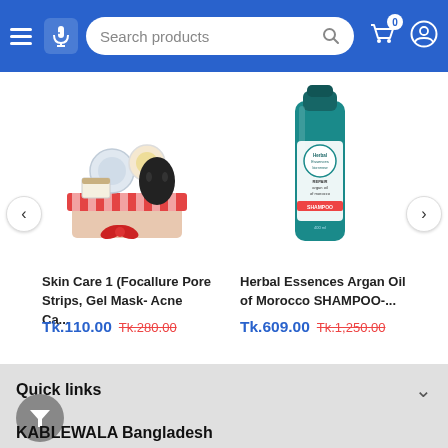Search products header with hamburger menu, mic button, search bar, cart (0), and user icon
[Figure (photo): Skin care product basket with gel masks, pore strips, acne care items arranged in a red-checked basket with red ribbon]
[Figure (photo): Herbal Essences Argan Oil of Morocco Shampoo bottle in teal/blue color]
Skin Care 1 (Focallure Pore Strips, Gel Mask- Acne Ca...
Herbal Essences Argan Oil of Morocco SHAMPOO-...
Tk.110.00  Tk.280.00
Tk.609.00  Tk.1,250.00
Quick links
KABLEWALA Bangladesh